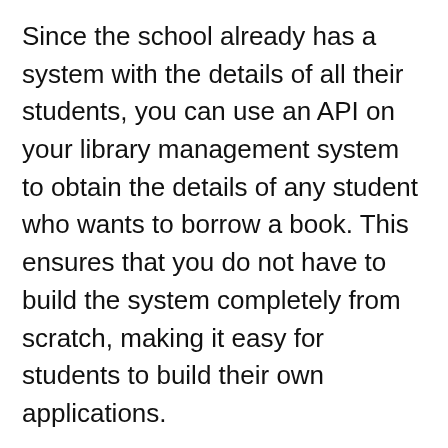Since the school already has a system with the details of all their students, you can use an API on your library management system to obtain the details of any student who wants to borrow a book. This ensures that you do not have to build the system completely from scratch, making it easy for students to build their own applications.
When using an API, you do not need to worry about its source code or even struggle to understand how the API works. All you need to do is ensure that it has all the functionality that you need.